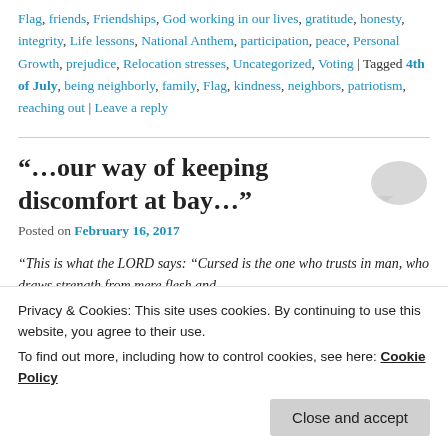Flag, friends, Friendships, God working in our lives, gratitude, honesty, integrity, Life lessons, National Anthem, participation, peace, Personal Growth, prejudice, Relocation stresses, Uncategorized, Voting | Tagged 4th of July, being neighborly, family, Flag, kindness, neighbors, patriotism, reaching out | Leave a reply
“…our way of keeping discomfort at bay…”
Posted on February 16, 2017
“This is what the LORD says: “Cursed is the one who trusts in man, who draws strength from mere flesh and…
Privacy & Cookies: This site uses cookies. By continuing to use this website, you agree to their use.
To find out more, including how to control cookies, see here: Cookie Policy